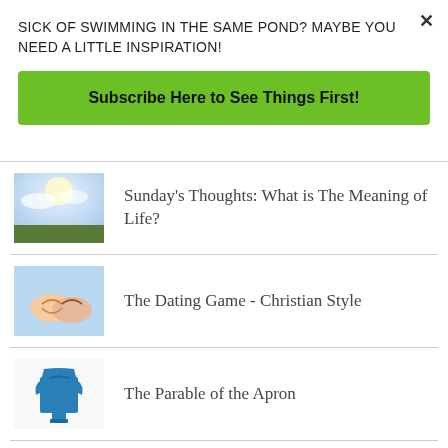SICK OF SWIMMING IN THE SAME POND? MAYBE YOU NEED A LITTLE INSPIRATION!
Subscribe Here to See Things First!
Sunday's Thoughts: What is The Meaning of Life?
The Dating Game - Christian Style
The Parable of the Apron
Sunday's Thought: Will You Please Listen To Me??